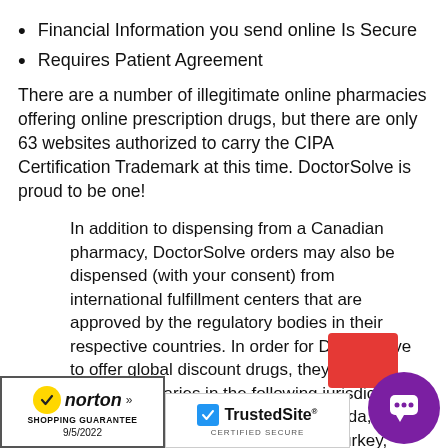Financial Information you send online Is Secure
Requires Patient Agreement
There are a number of illegitimate online pharmacies offering online prescription drugs, but there are only 63 websites authorized to carry the CIPA Certification Trademark at this time. DoctorSolve is proud to be one!
In addition to dispensing from a Canadian pharmacy, DoctorSolve orders may also be dispensed (with your consent) from international fulfillment centers that are approved by the regulatory bodies in their respective countries. In order for DoctorSolve to offer global discount drugs, they affiliate with dispensaries in the following jurisdictions that ship product to customers: Canada, Mauritius, New Zealand, Australia, Turkey, United Kingdom, India and the United States. DoctorSolve is not a pharmacy. It provides safe and affordable
[Figure (logo): Norton Shopping Guarantee badge with yellow checkmark, dated 9/5/2022]
[Figure (logo): TrustedSite Certified Secure badge with blue checkmark]
[Figure (illustration): Red rectangle and purple circular chat bubble icon in bottom right corner]